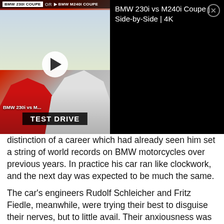[Figure (screenshot): Video thumbnail showing BMW 230i vs M240i Coupe Side-by-Side 4K test drive video, with red and white BMW cars, play button, TEST DRIVE label, and info panel on the right showing the video title on black background with close button.]
distinction of a career which had already seen him set a string of world records on BMW motorcycles over previous years. In practice his car ran like clockwork, and the next day was expected to be much the same.
The car's engineers Rudolf Schleicher and Fritz Fiedle, meanwhile, were trying their best to disguise their nerves, but to little avail. Their anxiousness was justified; after all, scheduled for the following day was the debut of their sporty new two-seater – in one of the most important races of the year.